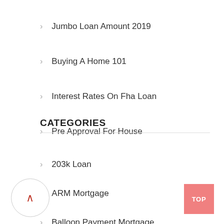Jumbo Loan Amount 2019
Buying A Home 101
Interest Rates On Fha Loan
Pre Approval For House
CATEGORIES
203k Loan
ARM Mortgage
Balloon Payment Mortgage
Blanket Mortgage
Blanket Mortgages
Business Mortgage